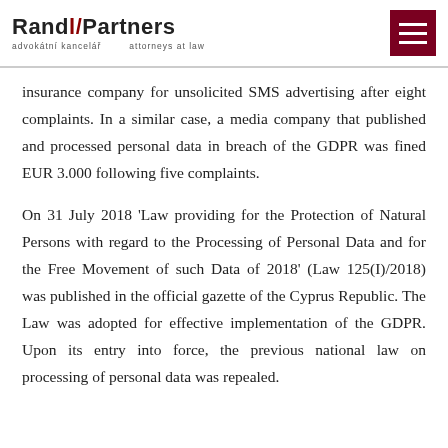Randl Partners — advokátní kancelář — attorneys at law
insurance company for unsolicited SMS advertising after eight complaints. In a similar case, a media company that published and processed personal data in breach of the GDPR was fined EUR 3.000 following five complaints.
On 31 July 2018 'Law providing for the Protection of Natural Persons with regard to the Processing of Personal Data and for the Free Movement of such Data of 2018' (Law 125(I)/2018) was published in the official gazette of the Cyprus Republic. The Law was adopted for effective implementation of the GDPR. Upon its entry into force, the previous national law on processing of personal data was repealed.